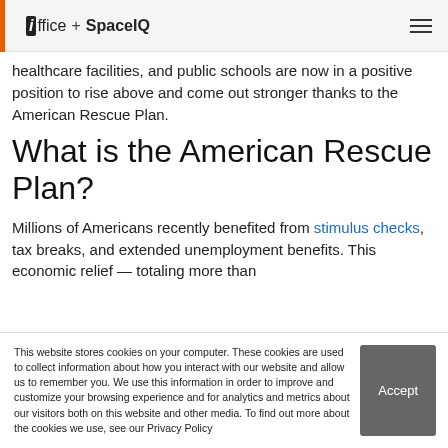ioffice + SpaceIQ
healthcare facilities, and public schools are now in a positive position to rise above and come out stronger thanks to the American Rescue Plan.
What is the American Rescue Plan?
Millions of Americans recently benefited from stimulus checks, tax breaks, and extended unemployment benefits. This economic relief — totaling more than
This website stores cookies on your computer. These cookies are used to collect information about how you interact with our website and allow us to remember you. We use this information in order to improve and customize your browsing experience and for analytics and metrics about our visitors both on this website and other media. To find out more about the cookies we use, see our Privacy Policy